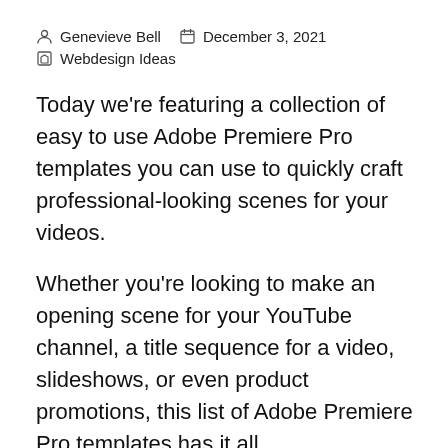Genevieve Bell   December 3, 2021   Webdesign Ideas
Today we're featuring a collection of easy to use Adobe Premiere Pro templates you can use to quickly craft professional-looking scenes for your videos.
Whether you're looking to make an opening scene for your YouTube channel, a title sequence for a video, slideshows, or even product promotions, this list of Adobe Premiere Pro templates has it all.
We've included a mix of free Premiere Pro templates and top-notch premium options too. So the...